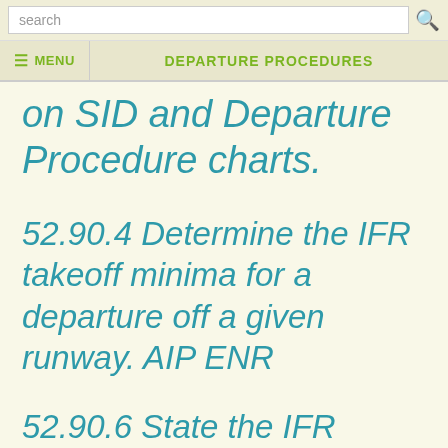search | MENU | DEPARTURE PROCEDURES
on SID and Departure Procedure charts.
52.90.4 Determine the IFR takeoff minima for a departure off a given runway. AIP ENR
52.90.6 State the IFR takeoff